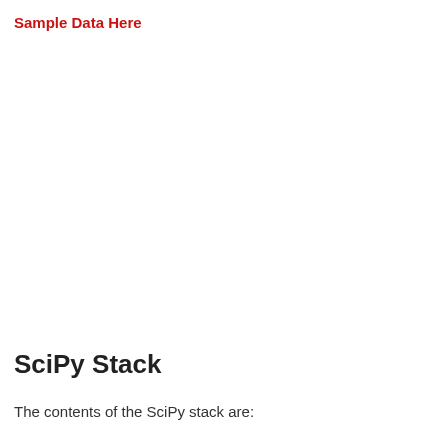Sample Data Here
SciPy Stack
The contents of the SciPy stack are: